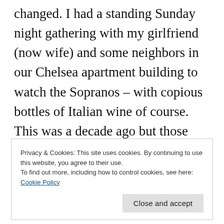changed. I had a standing Sunday night gathering with my girlfriend (now wife) and some neighbors in our Chelsea apartment building to watch the Sopranos – with copious bottles of Italian wine of course. This was a decade ago but those friends remain close even now, bonded by the experience of watching great content around a specific window in time. A slice of shared experience. HBO was the brand that brought us together before the
Privacy & Cookies: This site uses cookies. By continuing to use this website, you agree to their use.
To find out more, including how to control cookies, see here: Cookie Policy
Close and accept